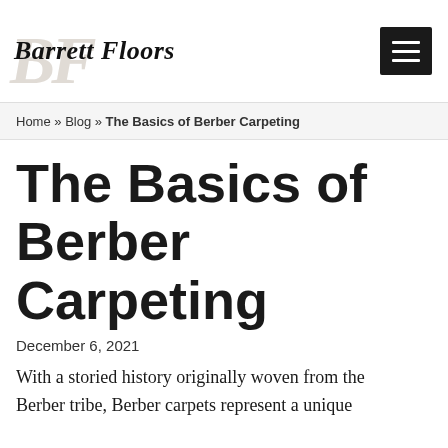Barrett Floors
Home » Blog » The Basics of Berber Carpeting
The Basics of Berber Carpeting
December 6, 2021
With a storied history originally woven from the Berber tribe, Berber carpets represent a unique